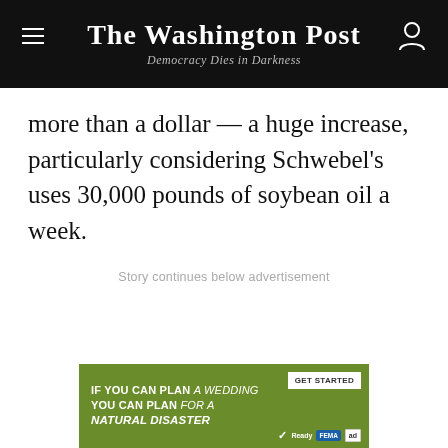The Washington Post
Democracy Dies in Darkness
more than a dollar — a huge increase, particularly considering Schwebel's uses 30,000 pounds of soybean oil a week.
Story continues below advertisement
[Figure (other): Advertisement banner: IF YOU CAN PLAN A WEDDING YOU CAN PLAN FOR A NATURAL DISASTER – GET STARTED – Ready FEMA ad]